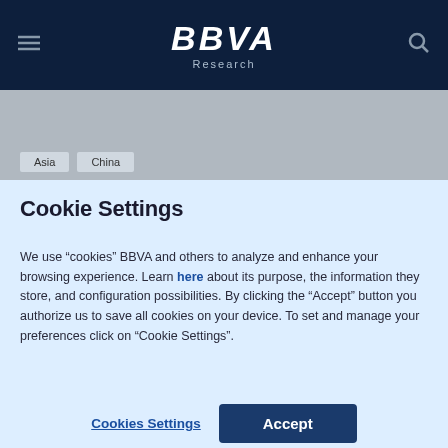BBVA Research
[Figure (screenshot): Gray background section with Asia and China tags]
Cookie Settings
We use “cookies” BBVA and others to analyze and enhance your browsing experience. Learn here about its purpose, the information they store, and configuration possibilities. By clicking the “Accept” button you authorize us to save all cookies on your device. To set and manage your preferences click on “Cookie Settings”.
Cookies Settings | Accept